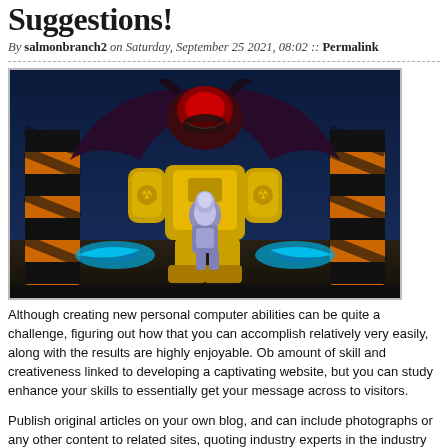Suggestions!
By salmonbranch2 on Saturday, September 25 2021, 08:02 :: Permalink
[Figure (photo): A dark sci-fi / video game scene showing a large demonic creature with bat wings and horns looming behind a yellow mech robot suit. A silver armored figure stands in the foreground. Orange and black striped barriers are on left and right. Blue energy effects near the bottom.]
Although creating new personal computer abilities can be quite a challenge, figuring out how that you can accomplish relatively very easily, along with the results are highly enjoyable. Ob amount of skill and creativeness linked to developing a captivating website, but you can study enhance your skills to essentially get your message across to visitors.
Publish original articles on your own blog, and can include photographs or any other content to related sites, quoting industry experts in the industry or incorporating video lessons could a interesting. Make sure you don't plagiarize, even though, because individuals will end visiting position with blunt content.